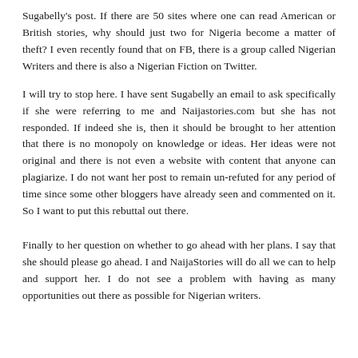Sugabelly's post. If there are 50 sites where one can read American or British stories, why should just two for Nigeria become a matter of theft? I even recently found that on FB, there is a group called Nigerian Writers and there is also a Nigerian Fiction on Twitter.
I will try to stop here. I have sent Sugabelly an email to ask specifically if she were referring to me and Naijastories.com but she has not responded. If indeed she is, then it should be brought to her attention that there is no monopoly on knowledge or ideas. Her ideas were not original and there is not even a website with content that anyone can plagiarize. I do not want her post to remain un-refuted for any period of time since some other bloggers have already seen and commented on it. So I want to put this rebuttal out there.
Finally to her question on whether to go ahead with her plans. I say that she should please go ahead. I and NaijaStories will do all we can to help and support her. I do not see a problem with having as many opportunities out there as possible for Nigerian writers.